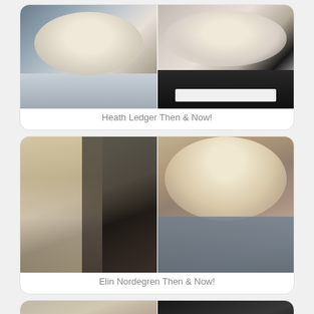[Figure (photo): Two-panel photo collage showing Heath Ledger as a young teen on the left and as an adult in a tuxedo on the right]
Heath Ledger Then & Now!
[Figure (photo): Two-panel photo collage: left panel shows Elin Nordegren with Tiger Woods at an event, right panel shows Elin Nordegren alone in a patterned dress]
Elin Nordegren Then & Now!
[Figure (photo): Partial view of a third two-panel photo collage, cropped at page bottom]